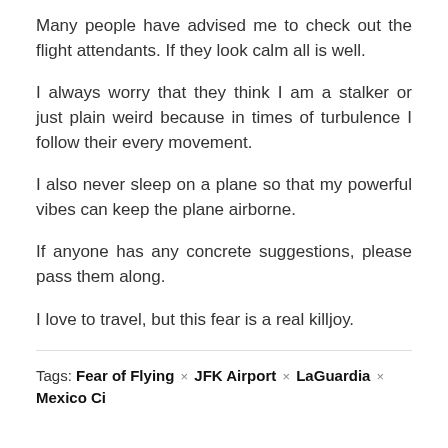Many people have advised me to check out the flight attendants. If they look calm all is well.
I always worry that they think I am a stalker or just plain weird because in times of turbulence I follow their every movement.
I also never sleep on a plane so that my powerful vibes can keep the plane airborne.
If anyone has any concrete suggestions, please pass them along.
I love to travel, but this fear is a real killjoy.
Tags: Fear of Flying × JFK Airport × LaGuardia × Mexico City